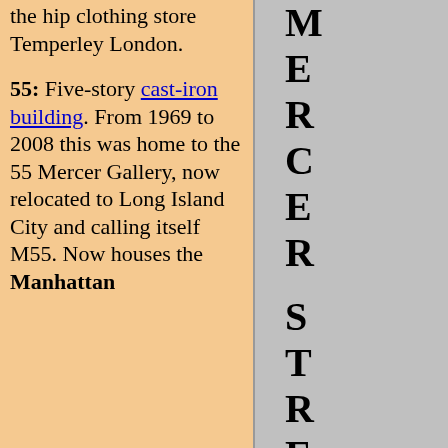the hip clothing store Temperley London.
55: Five-story cast-iron building. From 1969 to 2008 this was home to the 55 Mercer Gallery, now relocated to Long Island City and calling itself M55. Now houses the Manhattan
[Figure (other): Vertical text spelling out 'MERCER STREET' letter by letter, displayed in large bold font on a gray background]